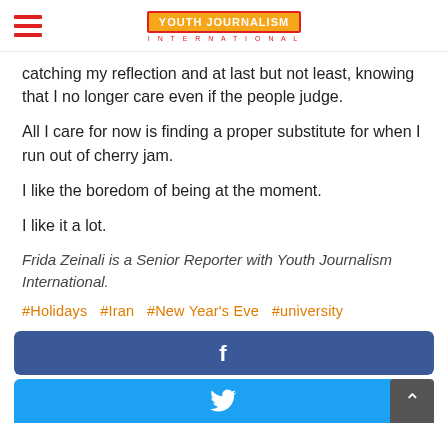Youth Journalism International
catching my reflection and at last but not least, knowing that I no longer care even if the people judge.
All I care for now is finding a proper substitute for when I run out of cherry jam.
I like the boredom of being at the moment.
I like it a lot.
Frida Zeinali is a Senior Reporter with Youth Journalism International.
#Holidays  #Iran  #New Year's Eve  #university
[Figure (other): Facebook share button (blue rectangle with white 'f' icon)]
[Figure (other): Twitter share button (light blue rectangle with white bird icon) with scroll-to-top button on right]